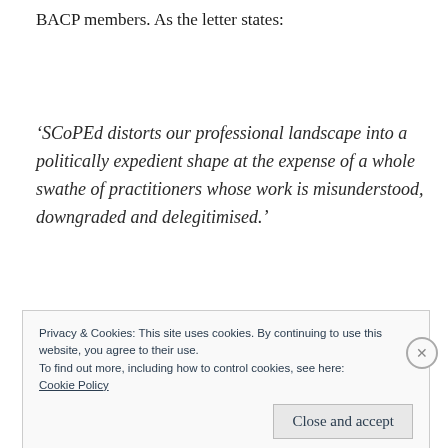BACP members. As the letter states:
‘SCoPEd distorts our professional landscape into a politically expedient shape at the expense of a whole swathe of practitioners whose work is misunderstood, downgraded and delegitimised.’
Privacy & Cookies: This site uses cookies. By continuing to use this website, you agree to their use.
To find out more, including how to control cookies, see here:
Cookie Policy
Close and accept